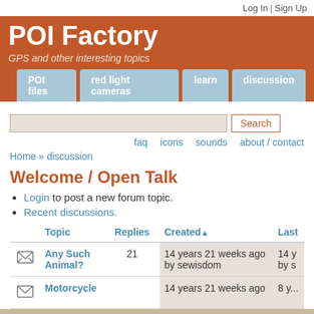Log In | Sign Up
POI Factory
GPS and other interesting topics
POI files
red light cameras
learn
discussion
faq  icons  sounds  about / contact
Home » discussion
Welcome / Open Talk
Login to post a new forum topic.
Recent discussions.
|  | Topic | Replies | Created▲ | Last |
| --- | --- | --- | --- | --- |
| [icon] | Any Such Animal? | 21 | 14 years 21 weeks ago by sewisdom | 14 y... by s... |
| [icon] | Motorcycle |  | 14 years 21 weeks ago | 8 y... |